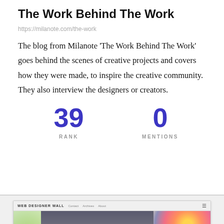The Work Behind The Work
https://milanote.com/the-work
The blog from Milanote 'The Work Behind The Work' goes behind the scenes of creative projects and covers how they were made, to inspire the creative community. They also interview the designers or creators.
39
RANK
0
MENTIONS
[Figure (screenshot): Screenshot of the Web Designer Wall website showing a browser window with navigation bar and a colorful hero image featuring 'Themify Shoppe' text overlay on a dark background, with decorative swirl patterns on the sides.]